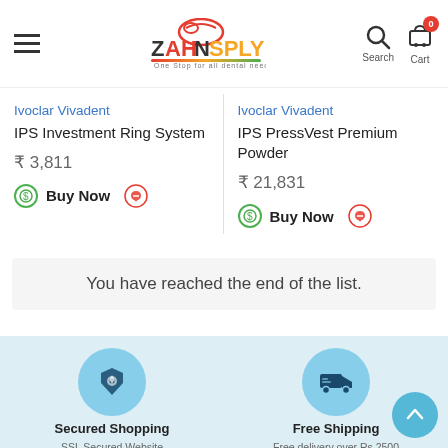[Figure (logo): ZAHNSPLY dental supplies logo with hamburger menu, search, and cart icons]
Ivoclar Vivadent
IPS Investment Ring System
₹ 3,811
Buy Now
Ivoclar Vivadent
IPS PressVest Premium Powder
₹ 21,831
Buy Now
You have reached the end of the list.
Secured Shopping
SSL Secured Website
Free Shipping
Free delivery over Rs.2500